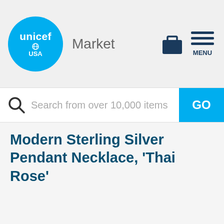unicef USA Market
Search from over 10,000 items
Modern Sterling Silver Pendant Necklace, 'Thai Rose'
[Figure (photo): Product photo of a modern sterling silver pendant necklace called Thai Rose, shown as a geometric angular silver chain forming a large geometric collar shape on white background]